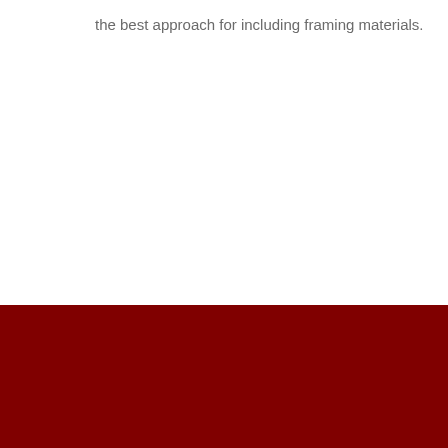the best approach for including framing materials.
[Figure (other): Large dark red/maroon solid color block filling the bottom portion of the page]